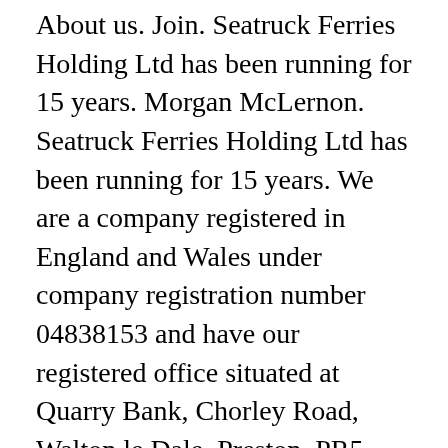About us. Join. Seatruck Ferries Holding Ltd has been running for 15 years. Morgan McLernon. Seatruck Ferries Holding Ltd has been running for 15 years. We are a company registered in England and Wales under company registration number 04838153 and have our registered office situated at Quarry Bank, Chorley Road, Walton le Dale, Preston, PR5 4JN. Seatruck Ferries Ltd (number 05651131) is a private limited company established on 2005-12-12. Seatruck Ferries Ltd is operating under Standard Industrial Classification: 50200 - "sea and coastal freight water transport". SEATRUCK FERRIES HOLDING LTD - Free company information from Companies House including registered office address, filing history,